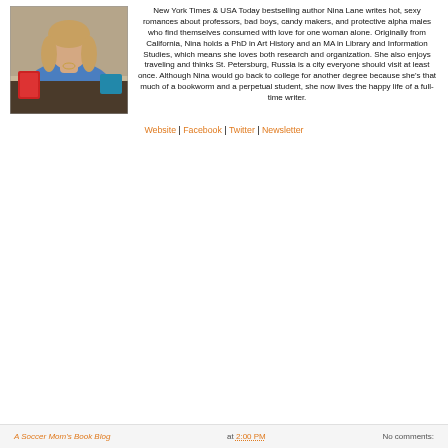[Figure (photo): Woman in blue shirt seated at a table with books]
New York Times & USA Today bestselling author Nina Lane writes hot, sexy romances about professors, bad boys, candy makers, and protective alpha males who find themselves consumed with love for one woman alone. Originally from California, Nina holds a PhD in Art History and an MA in Library and Information Studies, which means she loves both research and organization. She also enjoys traveling and thinks St. Petersburg, Russia is a city everyone should visit at least once. Although Nina would go back to college for another degree because she's that much of a bookworm and a perpetual student, she now lives the happy life of a full-time writer.
Website | Facebook | Twitter | Newsletter
A Soccer Mom's Book Blog at 2:00 PM    No comments: